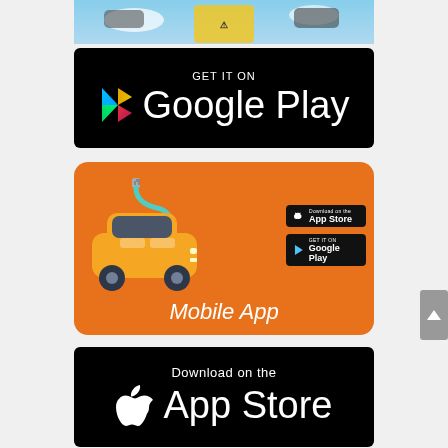[Figure (screenshot): Top portion of a mobile app screenshot showing cars/driving game imagery with blue sky background]
[Figure (logo): Get it on Google Play badge — black background with Google Play triangle logo and white text]
[Figure (infographic): Orange Mobile App promotional card with electric car illustration, App Store and Google Play mini badges, and 'Mobile App' label in white italic text]
[Figure (logo): Download on the App Store badge — black background with Apple logo and white text]